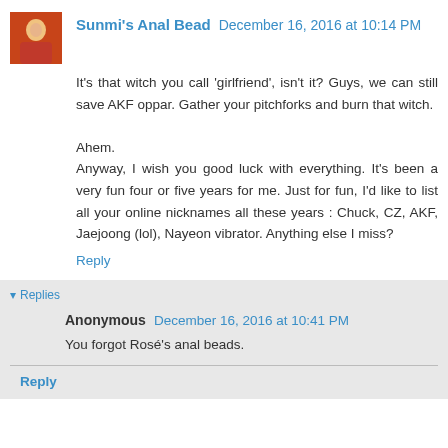Sunmi's Anal Bead  December 16, 2016 at 10:14 PM
It's that witch you call 'girlfriend', isn't it? Guys, we can still save AKF oppar. Gather your pitchforks and burn that witch.

Ahem.
Anyway, I wish you good luck with everything. It's been a very fun four or five years for me. Just for fun, I'd like to list all your online nicknames all these years : Chuck, CZ, AKF, Jaejoong (lol), Nayeon vibrator. Anything else I miss?
Reply
Replies
Anonymous  December 16, 2016 at 10:41 PM
You forgot Rosé's anal beads.
Reply